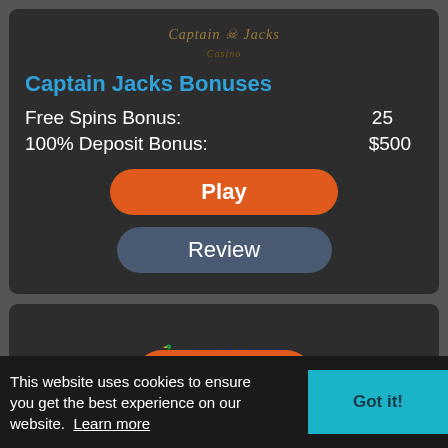[Figure (logo): Captain Jacks Casino logo text in gold/brown italic style]
Captain Jacks Bonuses
Free Spins Bonus: 25
100% Deposit Bonus: $500
[Figure (other): Orange Play button]
[Figure (other): Blue-grey Review button]
[Figure (logo): Dux Casino logo in dark blue with bird icon]
This website uses cookies to ensure you get the best experience on our website. Learn more
[Figure (other): Got it! teal button for cookie consent]
[Figure (other): Partial orange Play button visible at bottom]